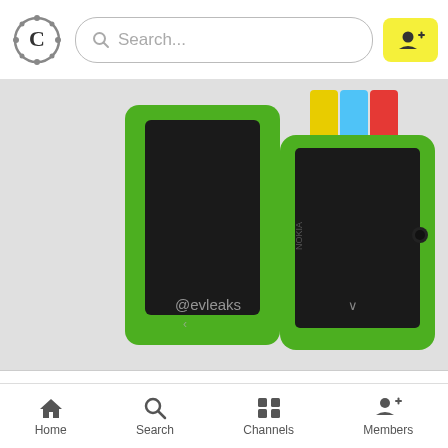Search...
[Figure (photo): Nokia Android smartphones in green color, shown from front and back, with @evleaks watermark, along with other colorful phone covers (yellow, blue, red) in the background]
There are just too many rumors clouding our judgement at the moment. While one rumor still sticks to the point that Microsoft's Nokia acquisition has nullified the Android project, there
Home  Search  Channels  Members